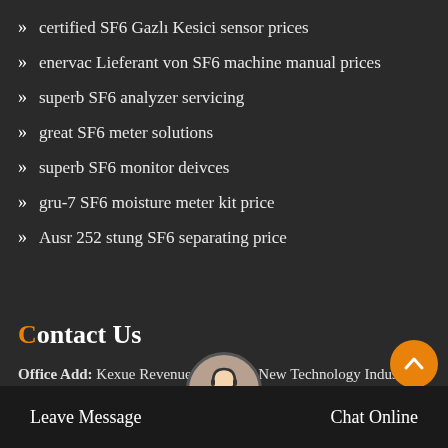certified SF6 Gazlı Kesici sensor prices
enervac Lieferant von SF6 machine manual prices
superb SF6 analyzer servicing
great SF6 meter solutions
superb SF6 monitor deivces
gru-7 SF6 moisture meter kit price
Ausr 252 stung SF6 separating price
Contact Us
Office Add: Kexue Revenue, High and New Technology Industry Development Zone, Zhengzhou
Leave Message   Chat Online